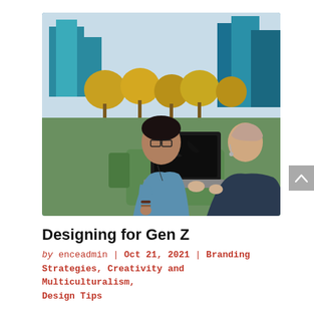[Figure (photo): Two people sitting outdoors at a green table with a laptop. A young man with glasses wearing a blue shirt looks at the screen while a woman in a dark jacket types on the keyboard. Background shows trees with autumn foliage and modern city buildings.]
Designing for Gen Z
by enceadmin | Oct 21, 2021 | Branding Strategies, Creativity and Multiculturalism, Design Tips